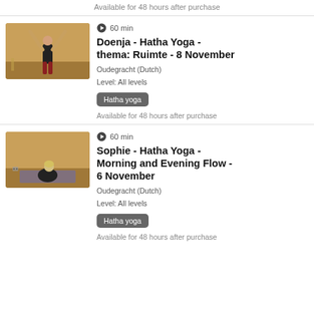Available for 48 hours after purchase
[Figure (photo): Yoga instructor standing with arms raised in a yoga studio with warm golden walls]
60 min
Doenja - Hatha Yoga - thema: Ruimte - 8 November
Oudegracht (Dutch)
Level: All levels
Hatha yoga
Available for 48 hours after purchase
[Figure (photo): Yoga instructor sitting in a yoga pose on a mat in a studio with golden walls]
60 min
Sophie - Hatha Yoga - Morning and Evening Flow - 6 November
Oudegracht (Dutch)
Level: All levels
Hatha yoga
Available for 48 hours after purchase